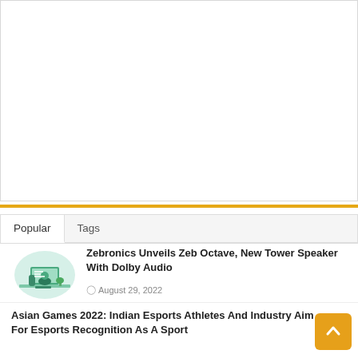[Figure (other): White rectangular area at top of page, likely an advertisement or image placeholder with a light border]
Popular	Tags
[Figure (illustration): Small illustration of a person sitting at a computer desk with a gaming chair and monitor, in green tones]
Zebronics Unveils Zeb Octave, New Tower Speaker With Dolby Audio
August 29, 2022
Asian Games 2022: Indian Esports Athletes And Industry Aim For Esports Recognition As A Sport